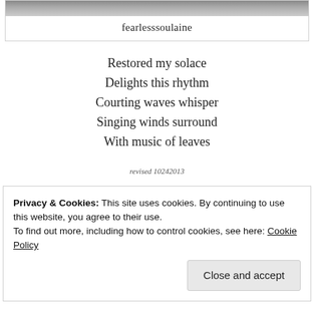[Figure (photo): Partial profile photo at top, cropped, black and white]
fearlesssoulaine
Restored my solace
Delights this rhythm
Courting waves whisper
Singing winds surround
With music of leaves
revised 10242013
Privacy & Cookies: This site uses cookies. By continuing to use this website, you agree to their use.
To find out more, including how to control cookies, see here: Cookie Policy
Close and accept